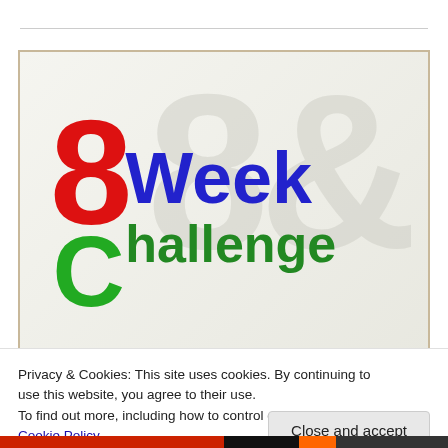[Figure (logo): 8 Week Challenge logo — a large red '8' with a green 'C' below it forming a figure-8 shape, followed by blue 'Week' text and green 'Challenge' text, on a light parchment-textured background with a faint '8' watermark.]
Privacy & Cookies: This site uses cookies. By continuing to use this website, you agree to their use.
To find out more, including how to control cookies, see here: Cookie Policy
Close and accept